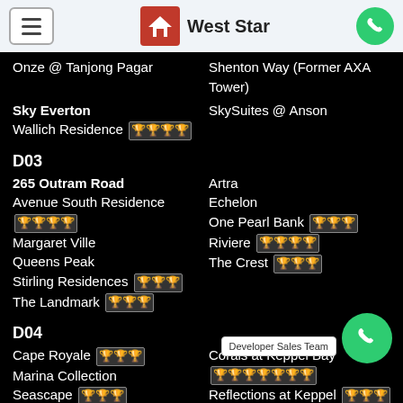West Star — navigation header with logo and phone button
Onze @ Tanjong Pagar
Shenton Way (Former AXA Tower)
Sky Everton
SkySuites @ Anson
Wallich Residence 🏆🏆🏆🏆
D03
265 Outram Road
Artra
Avenue South Residence 🏆🏆🏆🏆
Echelon
Margaret Ville
One Pearl Bank 🏆🏆🏆
Queens Peak
Riviere 🏆🏆🏆🏆
Stirling Residences 🏆🏆🏆
The Crest 🏆🏆🏆
The Landmark 🏆🏆🏆
D04
Cape Royale 🏆🏆🏆
Corals at Keppel Bay 🏆🏆🏆🏆🏆🏆🏆
Marina Collection
Reflections at Keppel Bay 🏆🏆🏆
Seascape 🏆🏆🏆
Seven Palms Sentosa Cove
The Interlace
The Reef at King's Dock
The Residences at W Singapore - Sentosa Cove
Treasure Island (...)
Developer Sales Team